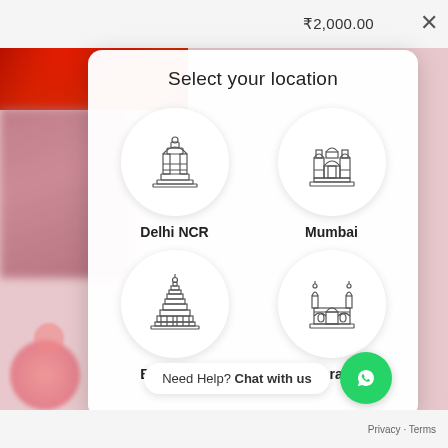₹2,000.00
Select your location
[Figure (illustration): Location selection modal with four Indian city icons in circular buttons: Delhi NCR (India Gate), Mumbai (Gateway of India), Bangalore (Vidhana Soudha), Hyderabad (Charminar)]
Delhi NCR
Mumbai
Bangalore
Hyderabad
Need Help? Chat with us
Privacy · Terms